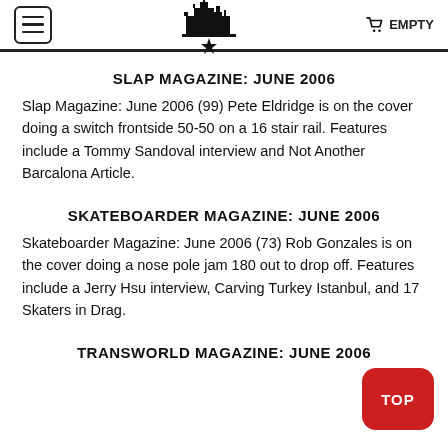EMPTY
SLAP MAGAZINE: JUNE 2006
Slap Magazine: June 2006 (99) Pete Eldridge is on the cover doing a switch frontside 50-50 on a 16 stair rail. Features include a Tommy Sandoval interview and Not Another Barcalona Article.
SKATEBOARDER MAGAZINE: JUNE 2006
Skateboarder Magazine: June 2006 (73) Rob Gonzales is on the cover doing a nose pole jam 180 out to drop off. Features include a Jerry Hsu interview, Carving Turkey Istanbul, and 17 Skaters in Drag.
TRANSWORLD MAGAZINE: JUNE 2006